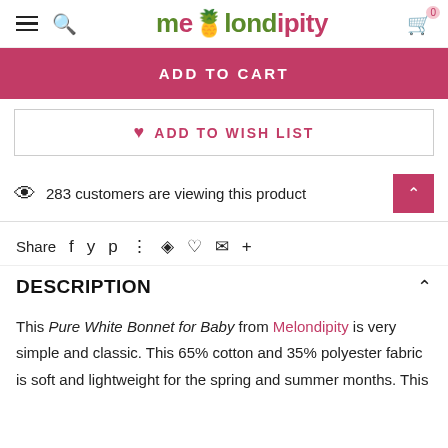melondipity
ADD TO CART
♥ ADD TO WISH LIST
283 customers are viewing this product
Share
DESCRIPTION
This Pure White Bonnet for Baby from Melondipity is very simple and classic. This 65% cotton and 35% polyester fabric is soft and lightweight for the spring and summer months. This